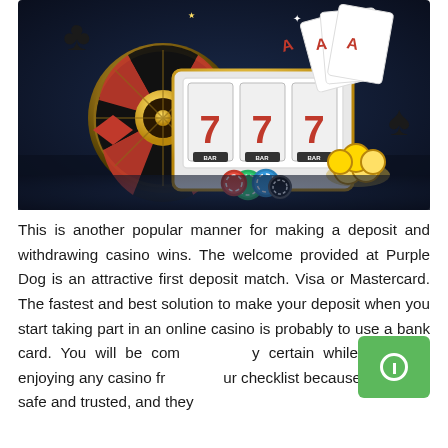[Figure (illustration): Casino themed illustration with dark background showing a slot machine displaying 777, playing cards (aces), a roulette wheel, poker chips, and gold coins]
This is another popular manner for making a deposit and withdrawing casino wins. The welcome provided at Purple Dog is an attractive first deposit match. Visa or Mastercard. The fastest and best solution to make your deposit when you start taking part in an online casino is probably to use a bank card. You will be completely certain while you start enjoying any casino from our checklist because they're all safe and trusted, and they